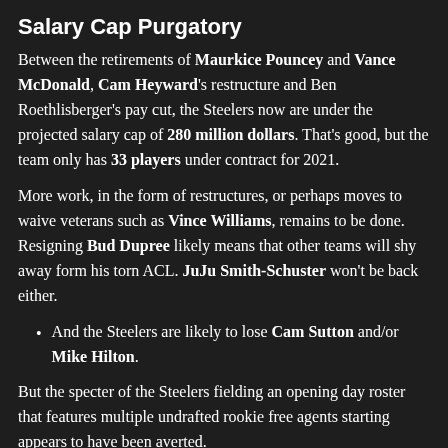Salary Cap Purgatory
Between the retirements of Maurkice Pouncey and Vance McDonald, Cam Heyward's restructure and Ben Roethlisberger's pay cut, the Steelers now are under the projected salary cap of 280 million dollars. That's good, but the team only has 33 players under contract for 2021.
More work, in the form of restructures, or perhaps moves to waive veterans such as Vince Williams, remains to be done. Resigning Bud Dupree likely means that other teams will shy away form his torn ACL. JuJu Smith-Schuster won't be back either.
And the Steelers are likely to lose Cam Sutton and/or Mike Hilton.
But the specter of the Steelers fielding an opening day roster that features multiple undrafted rookie free agents starting appears to have been averted.